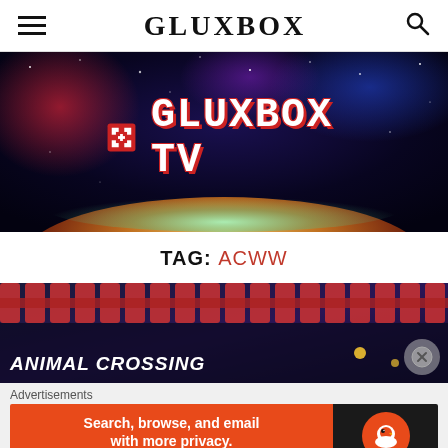GLUXBOX
[Figure (illustration): GLUXBOX TV banner with space/galaxy background, planet, and pixel-art style logo]
TAG: ACWW
[Figure (illustration): Animal Crossing game banner with dark purple/blue background and fence elements]
Advertisements
[Figure (illustration): DuckDuckGo advertisement: Search, browse, and email with more privacy. All in One Free App]